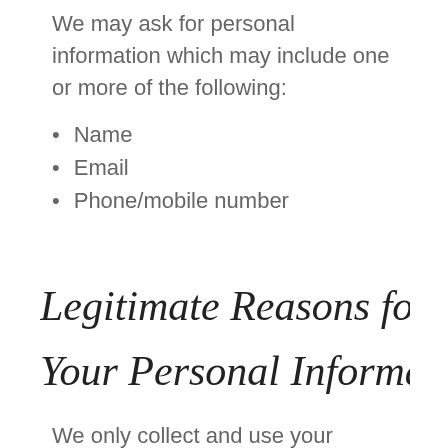We may ask for personal information which may include one or more of the following:
Name
Email
Phone/mobile number
Legitimate Reasons for Processing Your Personal Information
We only collect and use your personal information when we have a legitimate